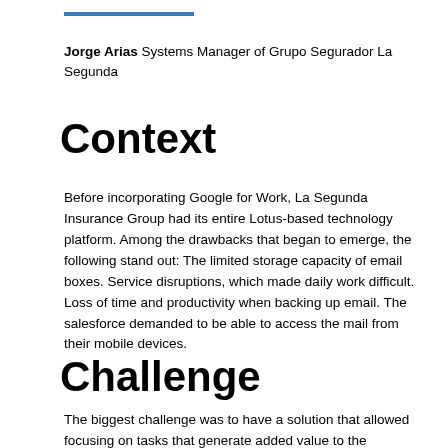Jorge Arias Systems Manager of Grupo Segurador La Segunda
Context
Before incorporating Google for Work, La Segunda Insurance Group had its entire Lotus-based technology platform. Among the drawbacks that began to emerge, the following stand out: The limited storage capacity of email boxes. Service disruptions, which made daily work difficult. Loss of time and productivity when backing up email. The salesforce demanded to be able to access the mail from their mobile devices.
Challenge
The biggest challenge was to have a solution that allowed focusing on tasks that generate added value to the business and be more efficient in its operations.